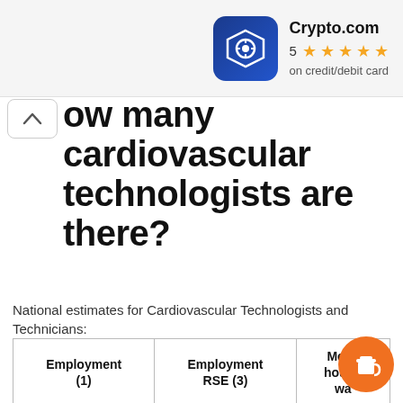[Figure (screenshot): Crypto.com app advertisement banner with logo icon, 5-star rating, and text 'on credit/debit card']
ow many cardiovascular technologists are there?
National estimates for Cardiovascular Technologists and Technicians:
| Employment (1) | Employment RSE (3) | Mean hourly wa… |
| --- | --- | --- |
| 55 980 | 1.6 % | $ 29.30 |